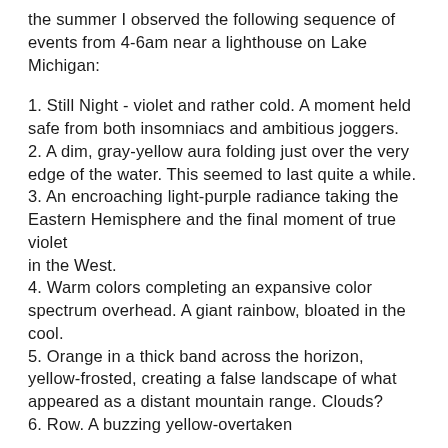the summer I observed the following sequence of events from 4-6am near a lighthouse on Lake Michigan:
1.  Still Night - violet and rather cold.  A moment held safe from both insomniacs and ambitious joggers.
2.  A dim, gray-yellow aura folding just over the very edge of the water.  This seemed to last quite a while.
3.  An encroaching light-purple radiance taking the Eastern Hemisphere and the final moment of true violet in the West.
4.  Warm colors completing an expansive color spectrum overhead.  A giant rainbow, bloated in the cool.
5.  Orange in a thick band across the horizon, yellow-frosted, creating a false landscape of what appeared as a distant mountain range.  Clouds?
6.  Row. A buzzing yellow-overtaken